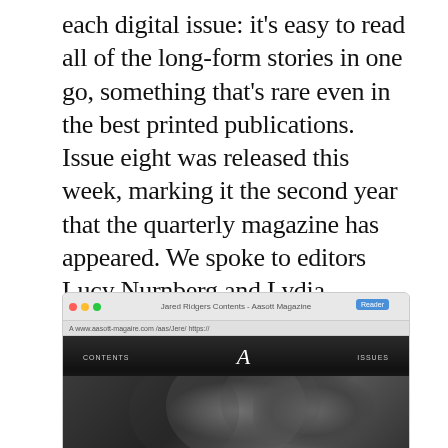each digital issue: it's easy to read all of the long-form stories in one go, something that's rare even in the best printed publications. Issue eight was released this week, marking it the second year that the quarterly magazine has appeared. We spoke to editors Lucy Nurnberg and Lydia Garnett, curious about the process of putting together an online magazine that's actually achieved the kind of status usually associated with print.
[Figure (screenshot): A browser window screenshot showing a magazine website (Aasott Magazine) with navigation links CONTENTS and ISSUES, a large italic 'A' logo in the center, and a black-and-white photograph of two people (faces close together) visible in the browser content area.]